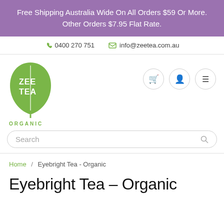Free Shipping Australia Wide On All Orders $59 Or More. Other Orders $7.95 Flat Rate.
0400 270 751   info@zeetea.com.au
[Figure (logo): Zee Tea Organic logo — green leaf shape with ZEE TEA text inside in white, ORGANIC text below in green]
Search
Home / Eyebright Tea - Organic
Eyebright Tea - Organic